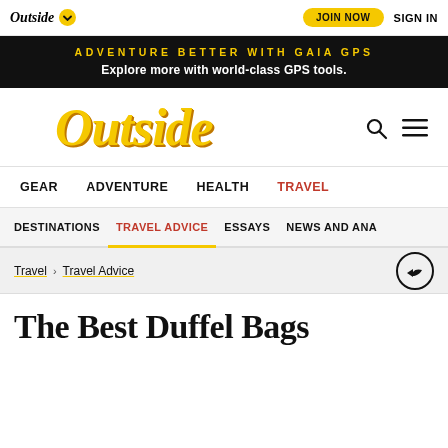Outside | JOIN NOW | SIGN IN
ADVENTURE BETTER WITH GAIA GPS — Explore more with world-class GPS tools.
[Figure (logo): Outside magazine logo in large italic yellow serif font with search and menu icons]
GEAR   ADVENTURE   HEALTH   TRAVEL
DESTINATIONS   TRAVEL ADVICE   ESSAYS   NEWS AND ANA...
Travel > Travel Advice
The Best Duffel Bags